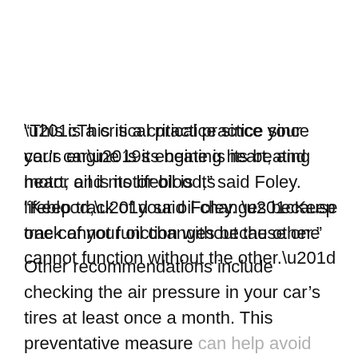“This is a critical practice since your car’s engine is its beating heart, and motor oil is its lifeblood,” said Foley. “Keep track of your oil changes because one cannot function without the other.”
Other recommendations include checking the air pressure in your car’s tires at least once a month. This preventative measure can help avoid sudden flats and excessive tire wear. Foley says that vehicles with